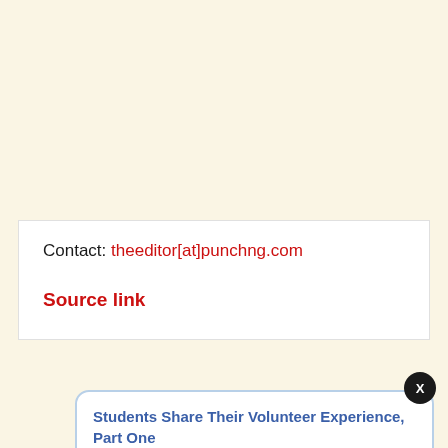Contact: theeditor[at]punchng.com
Source link
Students Share Their Volunteer Experience, Part One
3 hours ago